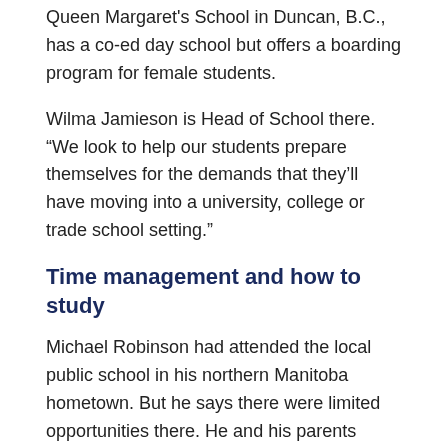Queen Margaret's School in Duncan, B.C., has a co-ed day school but offers a boarding program for female students.
Wilma Jamieson is Head of School there. “We look to help our students prepare themselves for the demands that they’ll have moving into a university, college or trade school setting.”
Time management and how to study
Michael Robinson had attended the local public school in his northern Manitoba hometown. But he says there were limited opportunities there. He and his parents decided together that he would board at Winnipeg’s St. John’s-Ravenscourt School – an eight-hour drive away.
He says time management and learning how to study properly were two important skills he learned. But it was